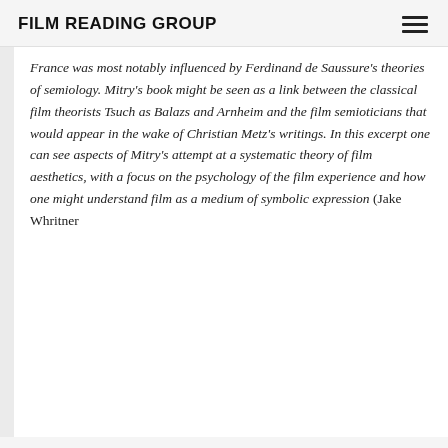FILM READING GROUP
France was most notably influenced by Ferdinand de Saussure's theories of semiology. Mitry's book might be seen as a link between the classical film theorists Tsuch as Balazs and Arnheim and the film semioticians that would appear in the wake of Christian Metz's writings. In this excerpt one can see aspects of Mitry's attempt at a systematic theory of film aesthetics, with a focus on the psychology of the film experience and how one might understand film as a medium of symbolic expression (Jake Whritner 2015).